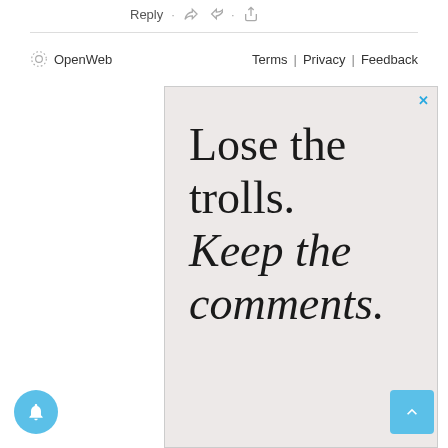Reply
OpenWeb   Terms | Privacy | Feedback
[Figure (screenshot): Advertisement with light beige/pink background showing text: 'Lose the trolls. Keep the comments.' in large serif font, with a close (X) button in the top right corner.]